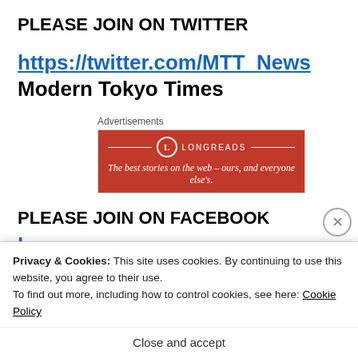PLEASE JOIN ON TWITTER
https://twitter.com/MTT_News Modern Tokyo Times
[Figure (screenshot): Longreads advertisement banner: red background with logo circle, tagline 'The best stories on the web – ours, and everyone else's.']
PLEASE JOIN ON FACEBOOK
Privacy & Cookies: This site uses cookies. By continuing to use this website, you agree to their use. To find out more, including how to control cookies, see here: Cookie Policy
Close and accept